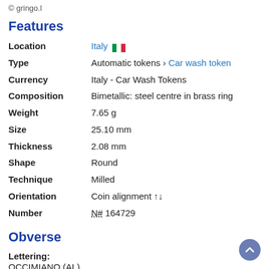© gringo.l
Features
| Field | Value |
| --- | --- |
| Location | Italy 🇮🇹 |
| Type | Automatic tokens › Car wash token |
| Currency | Italy - Car Wash Tokens |
| Composition | Bimetallic: steel centre in brass ring |
| Weight | 7.65 g |
| Size | 25.10 mm |
| Thickness | 2.08 mm |
| Shape | Round |
| Technique | Milled |
| Orientation | Coin alignment ↑↓ |
| Number | N# 164729 |
Obverse
Lettering:
OCCIMIANO (AL)